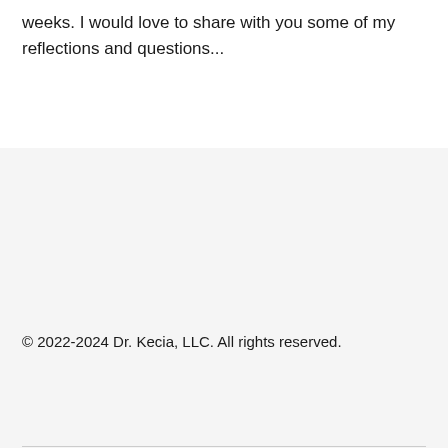weeks. I would love to share with you some of my reflections and questions...
© 2022-2024 Dr. Kecia, LLC. All rights reserved.